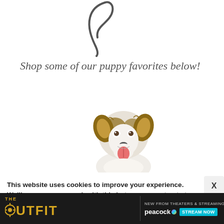[Figure (illustration): Partial cursive script letter, appears to be a stylized italic character in dark gray, cropped at top]
Shop some of our puppy favorites below!
[Figure (photo): A happy Australian Shepherd puppy with tongue out, white and brown/merle coloring, photographed against white background]
This website uses cookies to improve your experience. We'll assume you are ok with this but you can opt out at any time. Click accept to continue.
[Figure (screenshot): Advertisement banner for 'THE OUTFIT' movie/show, new from theaters and streaming on Peacock - Stream Now]